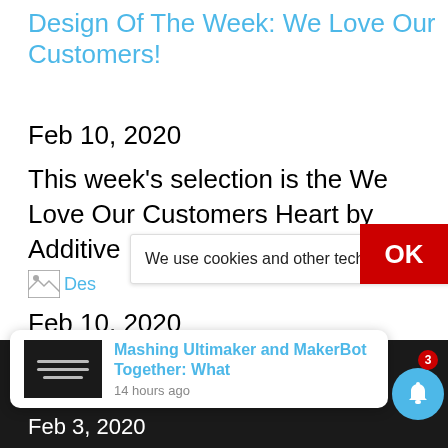Design Of The Week: We Love Our Customers!
Feb 10, 2020
This week's selection is the We Love Our Customers Heart by Additive Industries.
Feb 10, 2020
[Figure (screenshot): Cookie consent banner with text 'We use cookies and other techniq...' and a close X button, overlapping with a red OK button on the right side]
[Figure (screenshot): Browser notification card showing 'Mashing Ultimaker and MakerBot Together: What' with a small thumbnail and '14 hours ago' timestamp. A blue bell notification icon with badge showing 3 is visible at bottom right.]
Feb 3, 2020